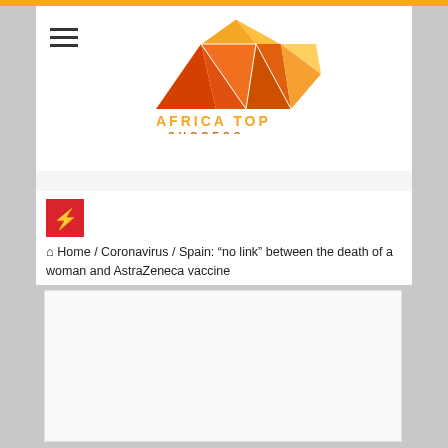[Figure (logo): Africa Top Success logo with geometric diamond/gem shape in orange and red tones, with text AFRICA TOP SUCCESS below]
Home / Coronavirus / Spain: “no link” between the death of a woman and AstraZeneca vaccine